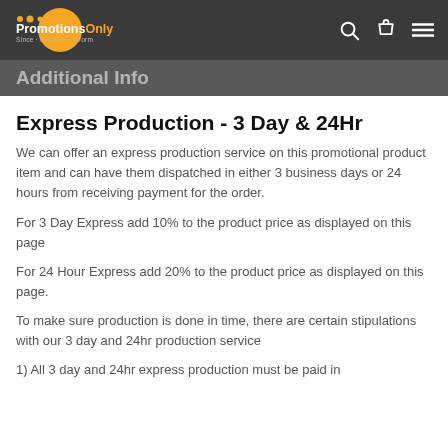PromotionsOnly
Additional Info
Express Production - 3 Day & 24Hr
We can offer an express production service on this promotional product item and can have them dispatched in either 3 business days or 24 hours from receiving payment for the order.
For 3 Day Express add 10% to the product price as displayed on this page
For 24 Hour Express add 20% to the product price as displayed on this page.
To make sure production is done in time, there are certain stipulations with our 3 day and 24hr production service
1) All 3 day and 24hr express production must be paid in